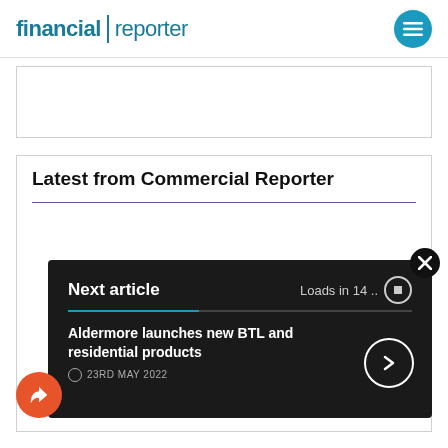financial reporter
[Figure (other): Advertisement banner placeholder box]
Latest from Commercial Reporter
Next article
Loads in 14 ..
Aldermore launches new BTL and residential products
23RD MAY 2022